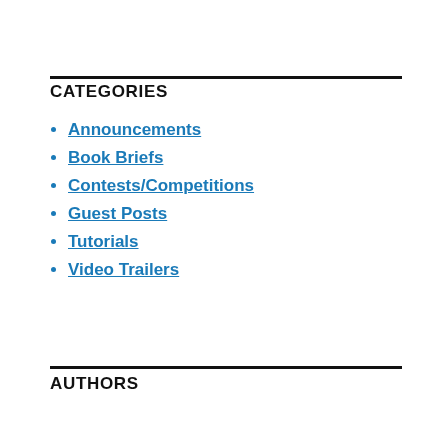CATEGORIES
Announcements
Book Briefs
Contests/Competitions
Guest Posts
Tutorials
Video Trailers
AUTHORS